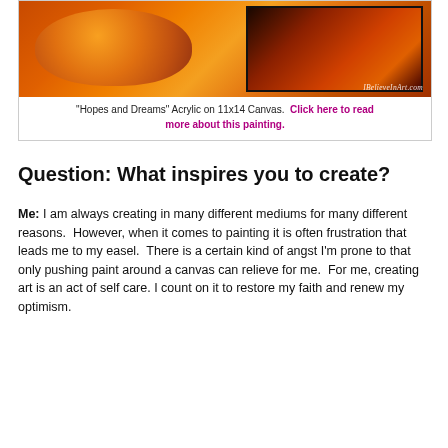[Figure (photo): Photograph of an orange painting on canvas displayed on an easel next to an orange ceramic vase, with warm orange and red tones. Watermark reads 'IBelieveInArt.com']
"Hopes and Dreams" Acrylic on 11x14 Canvas.  Click here to read more about this painting.
Question: What inspires you to create?
Me: I am always creating in many different mediums for many different reasons.  However, when it comes to painting it is often frustration that leads me to my easel.  There is a certain kind of angst I'm prone to that only pushing paint around a canvas can relieve for me.  For me, creating art is an act of self care. I count on it to restore my faith and renew my optimism.